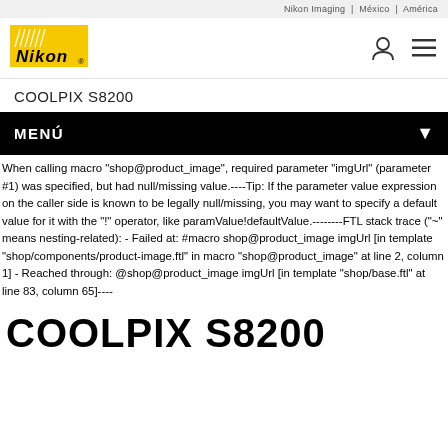Nikon Imaging | México | América
[Figure (logo): Nikon yellow logo with brand name]
COOLPIX S8200
MENÚ
When calling macro 'shop@product_image', required parameter 'imgUrl' (parameter #1) was specified, but had null/missing value.----Tip: If the parameter value expression on the caller side is known to be legally null/missing, you may want to specify a default value for it with the '!' operator, like paramValue!defaultValue.--------FTL stack trace (~" means nesting-related): - Failed at: #macro shop@product_image imgUrl [in template 'shop/components/product-image.ftl' in macro 'shop@product_image' at line 2, column 1] - Reached through: @shop@product_image imgUrl [in template 'shop/base.ftl' at line 83, column 65]----
COOLPIX S8200